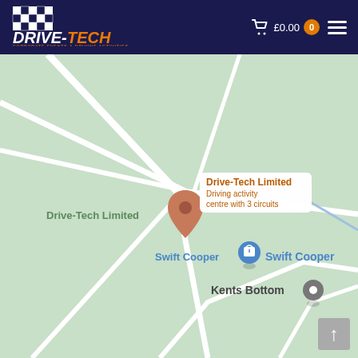[Figure (logo): Drive-Tech corporate events and driving activities logo with checkered flag, white and orange text on dark navy background]
£0.00  0
[Figure (map): Google Maps screenshot showing location of Drive-Tech Limited driving activity centre with 3 circuits, near Swift Cooper and Kents Bottom, roads shown on light green background]
Drive-Tech Limited
Drive-Tech Limited
Driving activity centre with 3 circuits
Swift Cooper
Swift Cooper
Kents Bottom